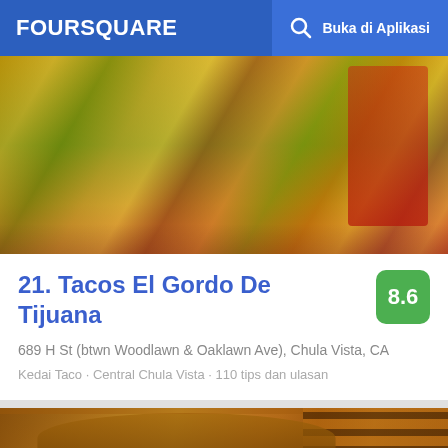FOURSQUARE  Buka di Aplikasi
[Figure (photo): Food photo showing tacos with toppings including corn, cheese, greens and various colorful garnishes on a plate with red accent.]
21. Tacos El Gordo De Tijuana
8.6
689 H St (btwn Woodlawn & Oaklawn Ave), Chula Vista, CA
Kedai Taco · Central Chula Vista · 110 tips dan ulasan
[Figure (photo): Photo of a restaurant exterior showing wooden/bamboo architectural structures, pergola or curved roof elements, with green trees visible below.]